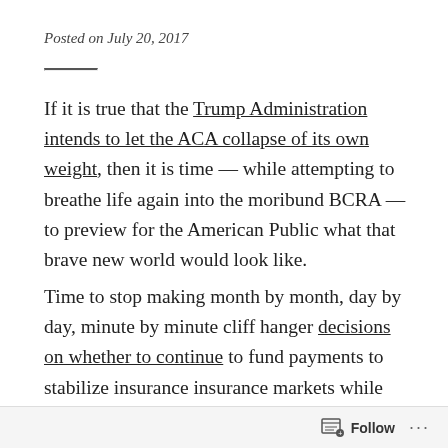Posted on July 20, 2017
If it is true that the Trump Administration intends to let the ACA collapse of its own weight, then it is time — while attempting to breathe life again into the moribund BCRA — to preview for the American Public what that brave new world would look like.
Time to stop making month by month, day by day, minute by minute cliff hanger decisions on whether to continue to fund payments to stabilize insurance insurance markets while